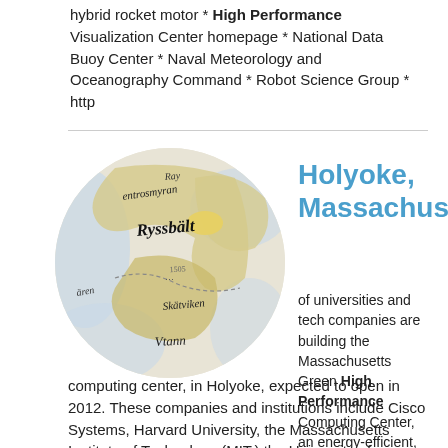hybrid rocket motor * High Performance Visualization Center homepage * National Data Buoy Center * Naval Meteorology and Oceanography Command * Robot Science Group * http
[Figure (map): Circular cropped antique-style map showing Swedish placenames including Ryssbält, Skätviken, Vtann]
Holyoke, Massachusetts
of universities and tech companies are building the Massachusetts Green High Performance Computing Center, an energy-efficient, high-performance computing center, in Holyoke, expected to open in 2012. These companies and institutions include Cisco Systems, Harvard University, the Massachusetts Institute of Technology (MIT,) the University of Massachusetts, Boston University, EMC Corporation, and Accenture PLC (Accenture). The data center has been built in Holyoke